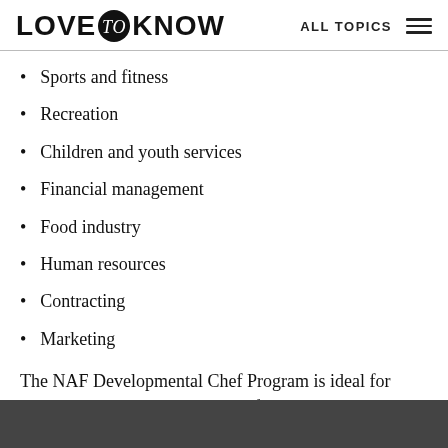LOVE to KNOW | ALL TOPICS
Sports and fitness
Recreation
Children and youth services
Financial management
Food industry
Human resources
Contracting
Marketing
The NAF Developmental Chef Program is ideal for individuals who have graduated from accredited